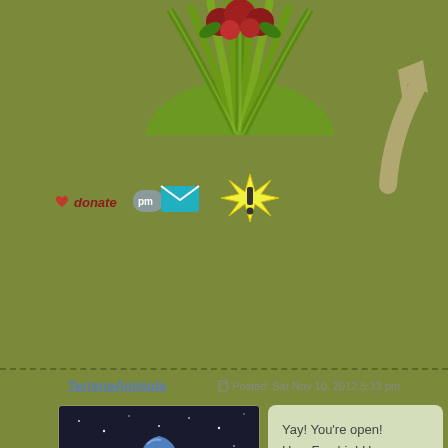[Figure (illustration): Top portion of an avatar or character dressed in green fan/feather costume with red roses, partially visible at top of page]
[Figure (illustration): Large tan/gray upward-pointing arrow icon on the right side of the top section]
[Figure (infographic): Action buttons row: heart donate button, PM envelope button, and an exclamation star burst button]
TerrenaAnimula
Posted: Sat Nov 10, 2012 5:33 pm
[Figure (illustration): Large anime-style avatar portrait of a blue-haired girl dressed in white winter/angel outfit with wings, standing in a dark snowy forest scene]
Yay! You're open!
Hey, Freshie! How are you?